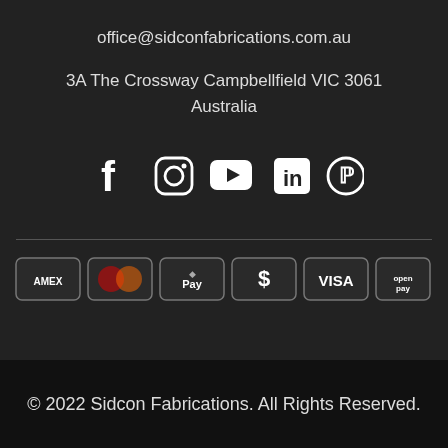office@sidconfabrications.com.au
3A The Crossway Campbellfield VIC 3061 Australia
[Figure (infographic): Row of 5 social media icons: Facebook, Instagram, YouTube, LinkedIn, Pinterest — white icons on dark background]
[Figure (infographic): Row of 6 payment method icons: AMEX, Mastercard, Apple Pay, Dollar sign, VISA, openpay — dark rounded rectangle badges with white borders]
© 2022 Sidcon Fabrications. All Rights Reserved.